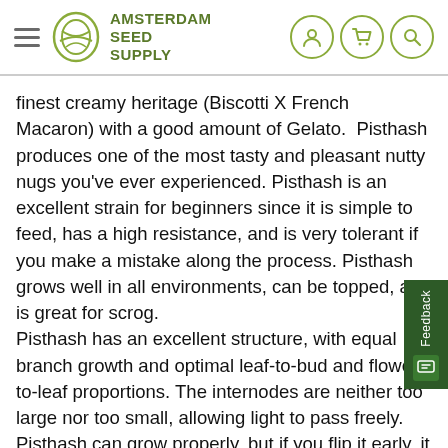Amsterdam Seed Supply
finest creamy heritage (Biscotti X French Macaron) with a good amount of Gelato.  Pisthash produces one of the most tasty and pleasant nutty nugs you've ever experienced. Pisthash is an excellent strain for beginners since it is simple to feed, has a high resistance, and is very tolerant if you make a mistake along the process. Pisthash grows well in all environments, can be topped, and is great for scrog.
Pisthash has an excellent structure, with equal branch growth and optimal leaf-to-bud and flower-to-leaf proportions. The internodes are neither too large nor too small, allowing light to pass freely. Pisthash can grow properly, but if you flip it early, it will remain small.
Pisthash is one of the greatest strains ever produced by T.H.Seeds in our belief because it excels in all